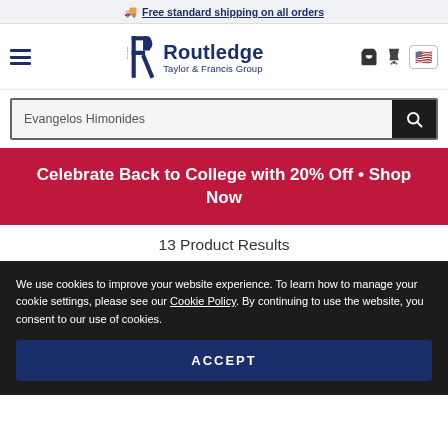🚚 Free standard shipping on all orders
[Figure (logo): Routledge Taylor & Francis Group logo with hamburger menu, cart icon, and US flag button]
Evangelos Himonides (search input)
Celebrate Back to College with 20% Off • Shop Now
13 Product Results
We use cookies to improve your website experience. To learn how to manage your cookie settings, please see our Cookie Policy. By continuing to use the website, you consent to our use of cookies.
ACCEPT